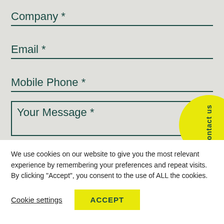Company *
Email *
Mobile Phone *
Your Message *
[Figure (other): Yellow circular 'Contact us' tab on the right side]
We use cookies on our website to give you the most relevant experience by remembering your preferences and repeat visits. By clicking "Accept", you consent to the use of ALL the cookies.
Cookie settings
ACCEPT